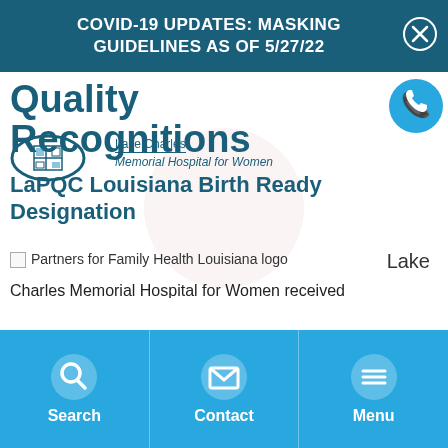COVID-19 UPDATES: MASKING GUIDELINES AS OF 5/27/22
Quality Recognitions
[Figure (logo): Lake Charles Memorial Hospital for Women logo icon]
Lake Charles
Memorial Hospital for Women
[Figure (logo): Phone icon circle]
LaPQC Louisiana Birth Ready Designation
[Figure (logo): Partners for Family Health Louisiana logo]
Lake
Charles Memorial Hospital for Women received
Search   Contact   Menu